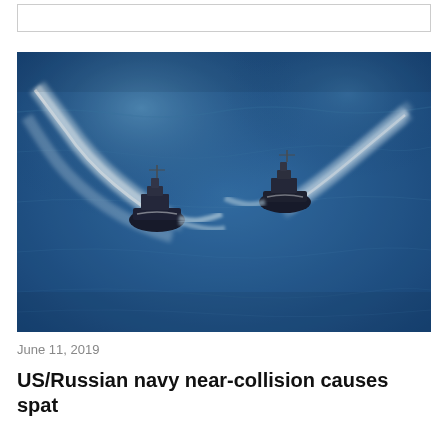[Figure (photo): Aerial photograph showing two naval ships on blue ocean water — a US Navy destroyer on the left and a Russian naval vessel on the right — in a near-collision situation. The blue-tinted image shows white wakes behind both ships as they sail in close proximity.]
June 11, 2019
US/Russian navy near-collision causes spat